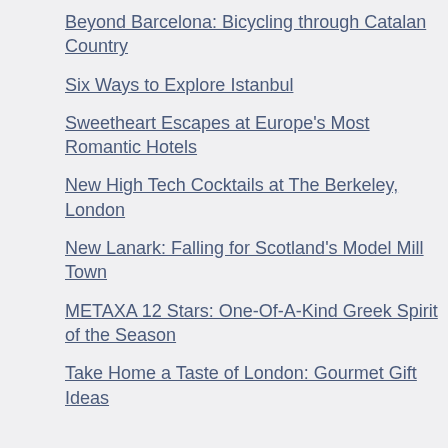Beyond Barcelona: Bicycling through Catalan Country
Six Ways to Explore Istanbul
Sweetheart Escapes at Europe's Most Romantic Hotels
New High Tech Cocktails at The Berkeley, London
New Lanark: Falling for Scotland's Model Mill Town
METAXA 12 Stars: One-Of-A-Kind Greek Spirit of the Season
Take Home a Taste of London: Gourmet Gift Ideas